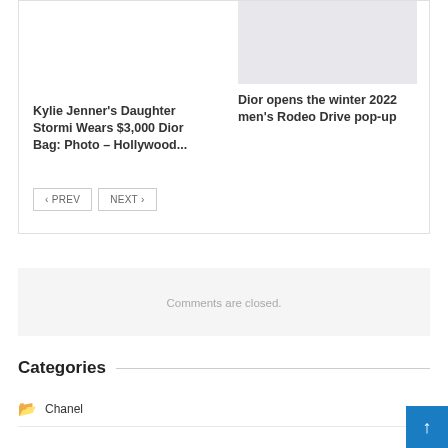[Figure (other): Gray placeholder image thumbnail for article on the right side]
Kylie Jenner's Daughter Stormi Wears $3,000 Dior Bag: Photo – Hollywood...
Dior opens the winter 2022 men’s Rodeo Drive pop-up
‹ PREV
NEXT ›
Comments are closed.
Categories
Chanel